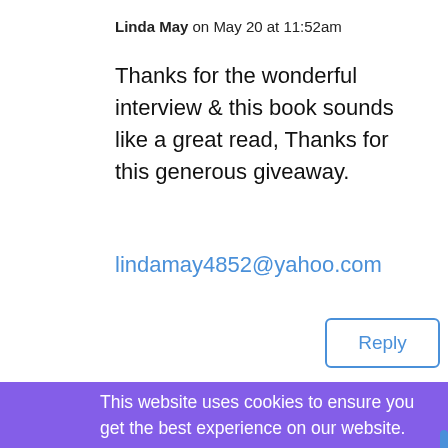Linda May on May 20 at 11:52am
Thanks for the wonderful interview & this book sounds like a great read, Thanks for this generous giveaway.
lindamay4852@yahoo.com
Reply
This website uses cookies to ensure you get the best experience on our website.
Learn more
Got it